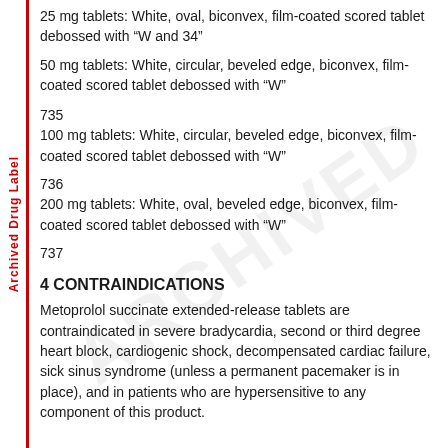25 mg tablets: White, oval, biconvex, film-coated scored tablet debossed with “W and 34”
50 mg tablets: White, circular, beveled edge, biconvex, film-coated scored tablet debossed with “W”
735
100 mg tablets: White, circular, beveled edge, biconvex, film-coated scored tablet debossed with “W”
736
200 mg tablets: White, oval, beveled edge, biconvex, film-coated scored tablet debossed with “W”
737
4 CONTRAINDICATIONS
Metoprolol succinate extended-release tablets are contraindicated in severe bradycardia, second or third degree heart block, cardiogenic shock, decompensated cardiac failure, sick sinus syndrome (unless a permanent pacemaker is in place), and in patients who are hypersensitive to any component of this product.